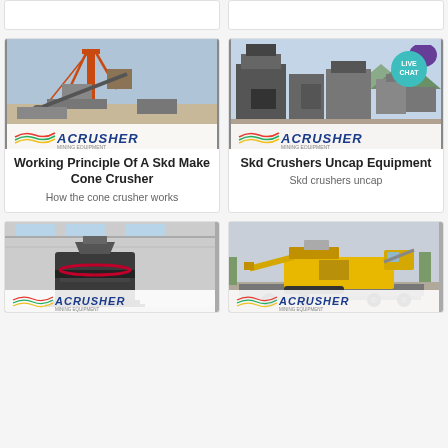[Figure (photo): Partial top strip cards - cropped at top]
[Figure (photo): Mining crane/conveyor equipment with ACRUSHER logo - Working Principle Of A Skd Make Cone Crusher]
Working Principle Of A Skd Make Cone Crusher
How the cone crusher works
[Figure (photo): Crushing plant facility with ACRUSHER logo and LIVE CHAT badge - Skd Crushers Uncap Equipment]
Skd Crushers Uncap Equipment
Skd crushers uncap
[Figure (photo): Vertical shaft impact crusher machine in warehouse with ACRUSHER logo]
[Figure (photo): Yellow mobile crawler crusher on flatbed with ACRUSHER logo]